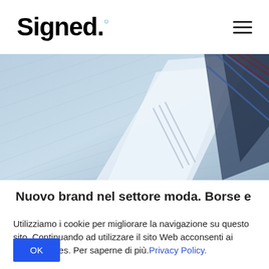Signed.° [hamburger menu]
[Figure (photo): Close-up photo of light blue fabric with diagonal stripes and dark pattern details, resembling a shirt or tie textile]
Nuovo brand nel settore moda. Borse e
Utilizziamo i cookie per migliorare la navigazione su questo sito. Continuando ad utilizzare il sito Web acconsenti ai nostri cookies. Per saperne di più. Privacy Policy.
OK